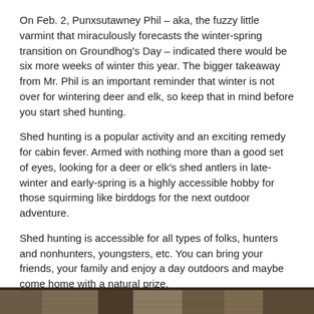On Feb. 2, Punxsutawney Phil – aka, the fuzzy little varmint that miraculously forecasts the winter-spring transition on Groundhog's Day – indicated there would be six more weeks of winter this year. The bigger takeaway from Mr. Phil is an important reminder that winter is not over for wintering deer and elk, so keep that in mind before you start shed hunting.
Shed hunting is a popular activity and an exciting remedy for cabin fever. Armed with nothing more than a good set of eyes, looking for a deer or elk's shed antlers in late-winter and early-spring is a highly accessible hobby for those squirming like birddogs for the next outdoor adventure.
Shed hunting is accessible for all types of folks, hunters and nonhunters, youngsters, etc. You can bring your friends, your family and enjoy a day outdoors and maybe come home with a natural prize.
[Figure (photo): Partial view of an outdoor nature/wildlife photograph strip at the bottom of the page]